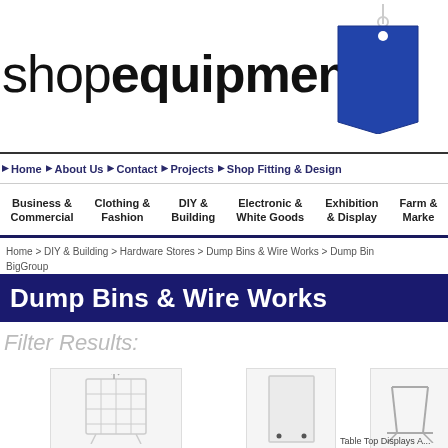[Figure (logo): Shop Equipment logo with blue price-tag graphic and text 'shop equipment']
Home   About Us   Contact   Projects   Shop Fitting & Design
Business & Commercial | Clothing & Fashion | DIY & Building | Electronic & White Goods | Exhibition & Display | Farm & Market
Home > DIY & Building > Hardware Stores > Dump Bins & Wire Works > Dump Bins & Wire Works BigGroup
Dump Bins & Wire Works
Filter Results:
[Figure (photo): White wire dump bin product photo]
[Figure (photo): White panel/board product photo]
[Figure (photo): Table Top Display stand product photo]
Table Top Displays A...